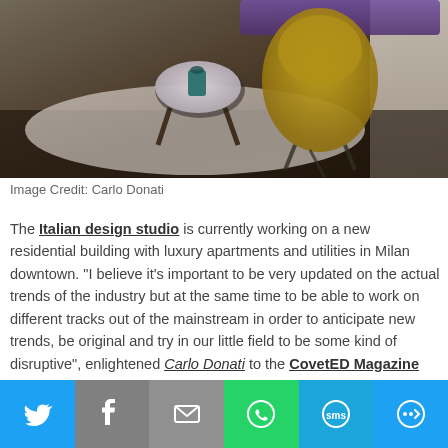[Figure (photo): Interior room photo showing a modern living space with a yellow/olive armchair, purple sofa in background, round white side table with a teal telephone, and a textured light-colored rug on dark floor]
Image Credit: Carlo Donati
The Italian design studio is currently working on a new residential building with luxury apartments and utilities in Milan downtown. "I believe it's important to be very updated on the actual trends of the industry but at the same time to be able to work on different tracks out of the mainstream in order to anticipate new trends, be original and try in our little field to be some kind of disruptive", enlightened Carlo Donati to the CovetED Magazine team. His
[Figure (infographic): Social media sharing bar with Twitter, Facebook, Email, WhatsApp, SMS, and More buttons]